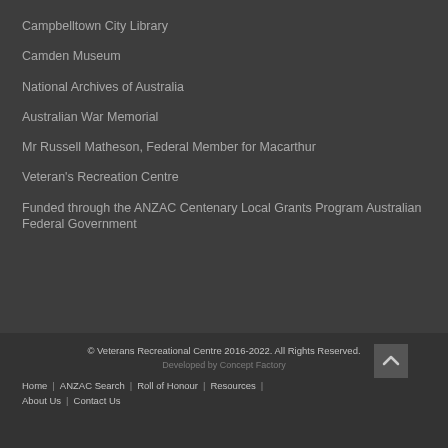Campbelltown City Library
Camden Museum
National Archives of Australia
Australian War Memorial
Mr Russell Matheson, Federal Member for Macarthur
Veteran's Recreation Centre
Funded through the ANZAC Centenary Local Grants Program Australian Federal Government
© Veterans Recreational Centre 2016-2022. All Rights Reserved.
Developed by Concept Factory
Home | ANZAC Search | Roll of Honour | Resources | About Us | Contact Us